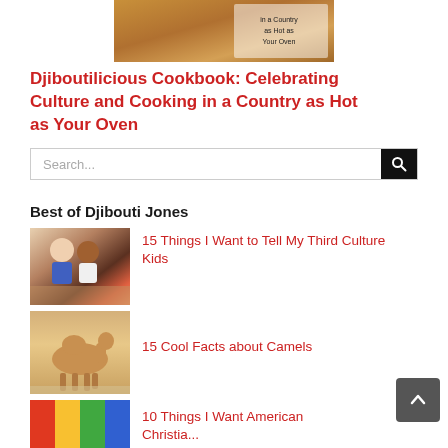[Figure (photo): Partial view of book cover with warm brown/orange tones and text: 'in a Country as Hot as Your Oven']
Djiboutilicious Cookbook: Celebrating Culture and Cooking in a Country as Hot as Your Oven
Search...
Best of Djibouti Jones
[Figure (photo): Two children sitting together, smiling]
15 Things I Want to Tell My Third Culture Kids
[Figure (photo): A camel standing on sandy ground]
15 Cool Facts about Camels
[Figure (photo): Partial colorful image at bottom (cropped)]
10 Things I Want American Christians...